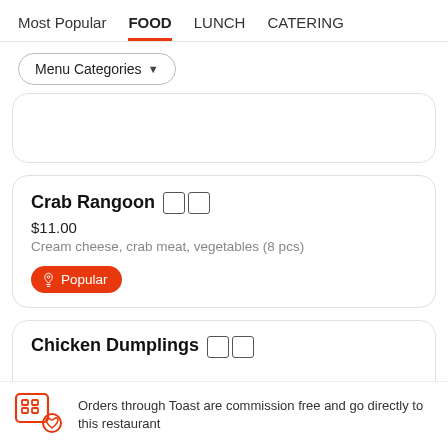Most Popular  FOOD  LUNCH  CATERING
Menu Categories ▾
Crab Rangoon 🟧🟧
$11.00
Cream cheese, crab meat, vegetables (8 pcs)
Popular
Chicken Dumplings 🟧🟧
Orders through Toast are commission free and go directly to this restaurant